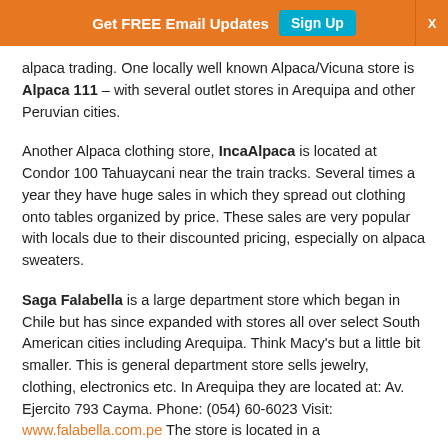many as you would find in Cuzco. Alpaca & Vicuna clothing
Get FREE Email Updates  Sign Up  X
alpaca trading. One locally well known Alpaca/Vicuna store is Alpaca 111 – with several outlet stores in Arequipa and other Peruvian cities.
Another Alpaca clothing store, IncaAlpaca is located at Condor 100 Tahuaycani near the train tracks. Several times a year they have huge sales in which they spread out clothing onto tables organized by price. These sales are very popular with locals due to their discounted pricing, especially on alpaca sweaters.
Saga Falabella is a large department store which began in Chile but has since expanded with stores all over select South American cities including Arequipa. Think Macy's but a little bit smaller. This is general department store sells jewelry, clothing, electronics etc. In Arequipa they are located at: Av. Ejercito 793 Cayma. Phone: (054) 60-6023 Visit: www.falabella.com.pe The store is located in a